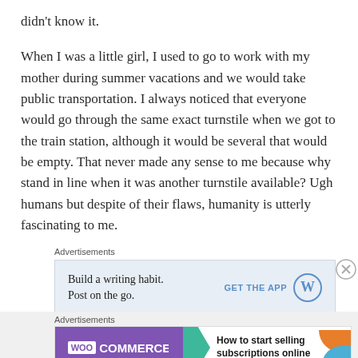didn't know it.

When I was a little girl, I used to go to work with my mother during summer vacations and we would take public transportation. I always noticed that everyone would go through the same exact turnstile when we got to the train station, although it would be several that would be empty. That never made any sense to me because why stand in line when it was another turnstile available? Ugh humans but despite of their flaws, humanity is utterly fascinating to me.
Advertisements
[Figure (infographic): Advertisement: Build a writing habit. Post on the go. GET THE APP with WordPress logo]
Advertisements
[Figure (infographic): WooCommerce advertisement: How to start selling subscriptions online]